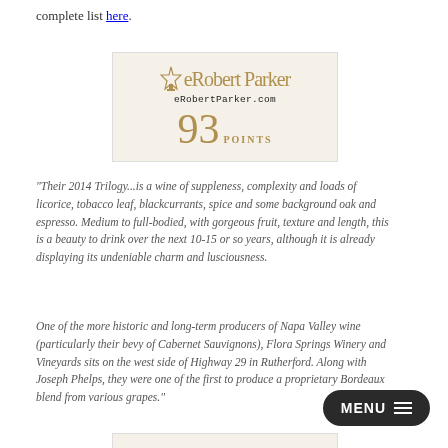complete list here.
[Figure (logo): eRobertParker.com badge with cursive signature logo, showing 93 POINTS on a cream background]
"Their 2014 Trilogy...is a wine of suppleness, complexity and loads of licorice, tobacco leaf, blackcurrants, spice and some background oak and espresso. Medium to full-bodied, with gorgeous fruit, texture and length, this is a beauty to drink over the next 10-15 or so years, although it is already displaying its undeniable charm and lusciousness.
One of the more historic and long-term producers of Napa Valley wine (particularly their bevy of Cabernet Sauvignons), Flora Springs Winery and Vineyards sits on the west side of Highway 29 in Rutherford. Along with Joseph Phelps, they were one of the first to produce a proprietary Bordeaux blend from various grapes."